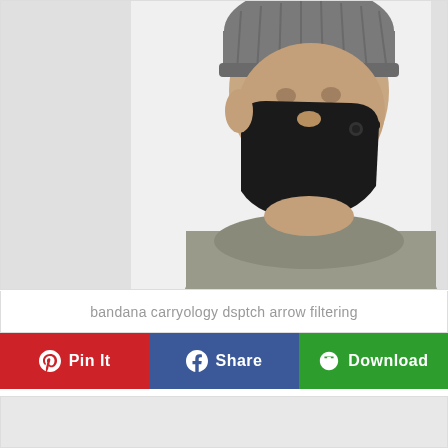[Figure (photo): Person wearing a black face mask/bandana and grey beanie hat, dressed in a grey sweater, photographed against a light background from the chest up.]
bandana carryology dsptch arrow filtering
[Figure (other): Three social sharing buttons: Pin It (red, Pinterest), Share (blue, Facebook), Download (green)]
[Figure (other): Light grey placeholder content area at bottom of page]